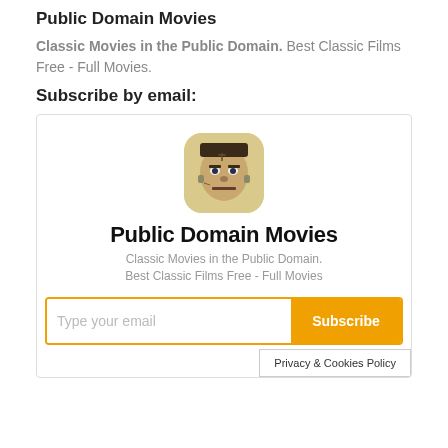Public Domain Movies
Classic Movies in the Public Domain. Best Classic Films Free - Full Movies.
Subscribe by email:
[Figure (screenshot): Email subscription widget for Public Domain Movies app showing Frankenstein monster icon, app title 'Public Domain Movies', subtitle 'Classic Movies in the Public Domain. Best Classic Films Free - Full Movies', email input field with placeholder 'Type your email' and orange Subscribe button]
Privacy & Cookies Policy